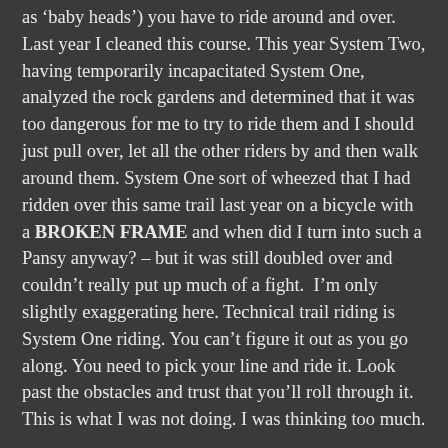as 'baby heads') you have to ride around and over. Last year I cleaned this course. This year System Two, having temporarily incapacitated System One, analyzed the rock gardens and determined that it was too dangerous for me to try to ride them and I should just pull over, let all the other riders by and then walk around them. System One sort of wheezed that I had ridden over this same trail last year on a bicycle with a BROKEN FRAME and when did I turn into such a Pansy anyway? – but it was still doubled over and couldn't really put up much of a fight.  I'm only slightly exaggerating here. Technical trail riding is System One riding. You can't figure it out as you go along. You need to pick your line and ride it. Look past the obstacles and trust that you'll roll through it. This is what I was not doing. I was thinking too much.
Excelling in anything, especially racing, requires a mental stillness, a sort of balance between the two systems that lets them go silent. I was there at the start of the race. I was at the race after Kalamazoo too, or so it said it was...